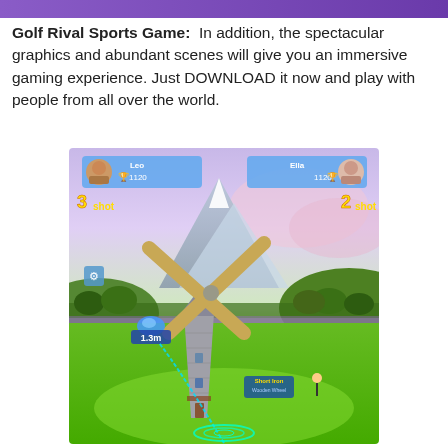Golf Rival Sports Game: In addition, the spectacular graphics and abundant scenes will give you an immersive gaming experience. Just DOWNLOAD it now and play with people from all over the world.
[Figure (screenshot): Golf Rival game screenshot showing a windmill obstacle on a golf course with player profiles for Leo (1120 trophy, 3 shot) and Ella (1120 trophy, 2 shot), a blue 1.3m distance marker, Short Iron / Wooden Wheel club indicator, and a ball trajectory arc on a green golf course with mountain backdrop.]